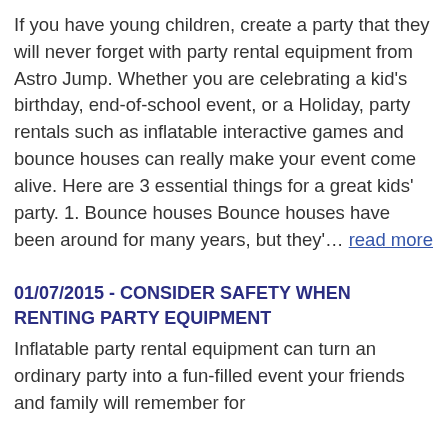If you have young children, create a party that they will never forget with party rental equipment from Astro Jump. Whether you are celebrating a kid's birthday, end-of-school event, or a Holiday, party rentals such as inflatable interactive games and bounce houses can really make your event come alive. Here are 3 essential things for a great kids' party. 1. Bounce houses Bounce houses have been around for many years, but they'… read more
01/07/2015 - CONSIDER SAFETY WHEN RENTING PARTY EQUIPMENT
Inflatable party rental equipment can turn an ordinary party into a fun-filled event your friends and family will remember for...